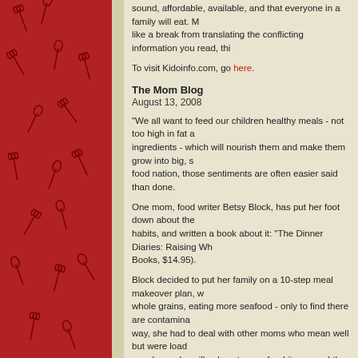sound, affordable, available, and that everyone in a family will eat. If you'd like a break from translating the conflicting information you read, this
To visit Kidoinfo.com, go here.
The Mom Blog
August 13, 2008
"We all want to feed our children healthy meals - not too high in fat and ingredients - which will nourish them and make them grow into big, strong food nation, those sentiments are often easier said than done.
One mom, food writer Betsy Block, has put her foot down about the habits, and written a book about it: "The Dinner Diaries: Raising Wh Books, $14.95).
Block decided to put her family on a 10-step meal makeover plan, w whole grains, eating more seafood - only to find there are contamina way, she had to deal with other moms who mean well but were load members who will only eat some food items; and the whole gamut o them all, Halloween.
It's a good read: funny, insightful, full of great information, including Miraculous Fish Sticks sound pretty good."
To visit The Mom Blog, go here.